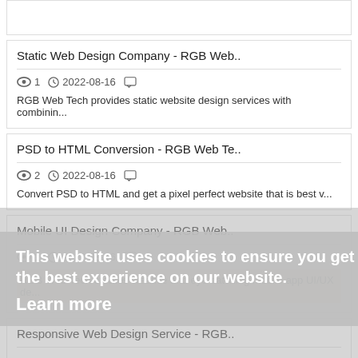Static Web Design Company - RGB Web..
1   2022-08-16
RGB Web Tech provides static website design services with combinin...
PSD to HTML Conversion - RGB Web Te..
2   2022-08-16
Convert PSD to HTML and get a pixel perfect website that is best v...
Mobile UI Design Company - RGB Web..
1   2022-08-16
RGB Web Tech creates creative and eye-catching mobile app UI/UX de...
Responsive Web Design Service - RGB..
This website uses cookies to ensure you get the best experience on our website.
Learn more